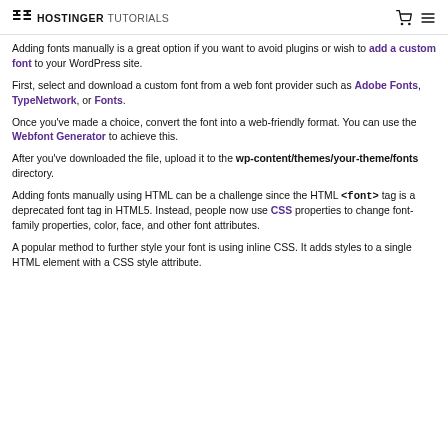HOSTINGER TUTORIALS
Adding fonts manually is a great option if you want to avoid plugins or wish to add a custom font to your WordPress site.
First, select and download a custom font from a web font provider such as Adobe Fonts, TypeNetwork, or Fonts.
Once you've made a choice, convert the font into a web-friendly format. You can use the Webfont Generator to achieve this.
After you've downloaded the file, upload it to the wp-content/themes/your-theme/fonts directory.
Adding fonts manually using HTML can be a challenge since the HTML <font> tag is a deprecated font tag in HTML5. Instead, people now use CSS properties to change font-family properties, color, face, and other font attributes.
A popular method to further style your font is using inline CSS. It adds styles to a single HTML element with a CSS style attribute.